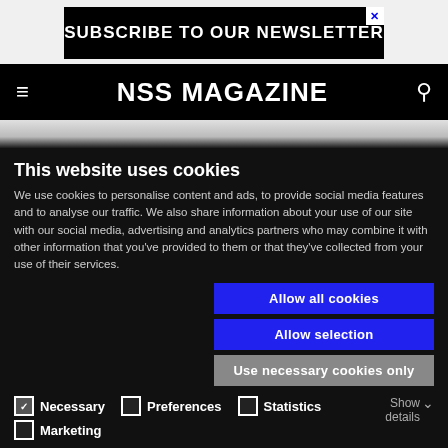[Figure (screenshot): SUBSCRIBE TO OUR NEWSLETTER ad banner on dark background with X close button]
NSS MAGAZINE
This website uses cookies
We use cookies to personalise content and ads, to provide social media features and to analyse our traffic. We also share information about your use of our site with our social media, advertising and analytics partners who may combine it with other information that you've provided to them or that they've collected from your use of their services.
Allow all cookies
Allow selection
Use necessary cookies only
Necessary
Preferences
Statistics
Marketing
Show details